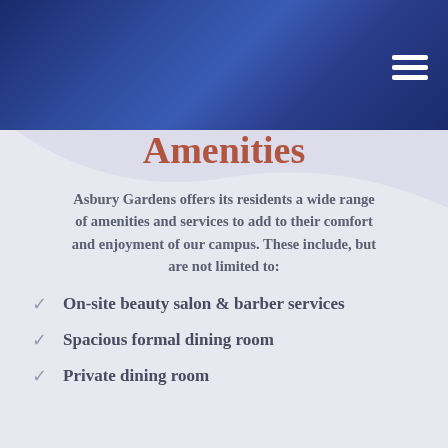[Figure (other): Dark navy blue gradient header banner with a hamburger menu icon in the top right corner]
Amenities
Asbury Gardens offers its residents a wide range of amenities and services to add to their comfort and enjoyment of our campus. These include, but are not limited to:
On-site beauty salon & barber services
Spacious formal dining room
Private dining room